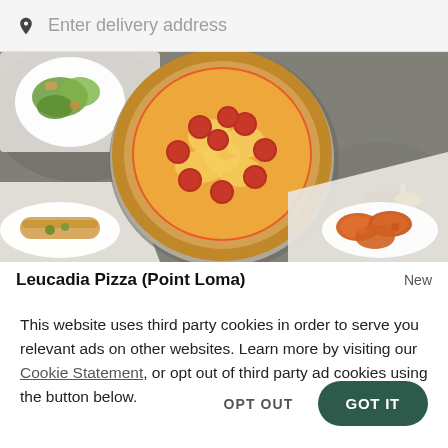Enter delivery address
[Figure (photo): Overhead shot of a pepperoni pizza in the center, surrounded by plates with food including bread sticks, wings, a salad, and a drink with ice on a grey stone surface]
Leucadia Pizza (Point Loma)
New
This website uses third party cookies in order to serve you relevant ads on other websites. Learn more by visiting our Cookie Statement, or opt out of third party ad cookies using the button below.
OPT OUT
GOT IT